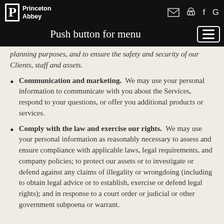Princeton Abbey — Push button for menu
planning purposes, and to ensure the safety and security of our Clients, staff and assets.
Communication and marketing. We may use your personal information to communicate with you about the Services, respond to your questions, or offer you additional products or services.
Comply with the law and exercise our rights. We may use your personal information as reasonably necessary to assess and ensure compliance with applicable laws, legal requirements, and company policies; to protect our assets or to investigate or defend against any claims of illegality or wrongdoing (including to obtain legal advice or to establish, exercise or defend legal rights); and in response to a court order or judicial or other government subpoena or warrant.